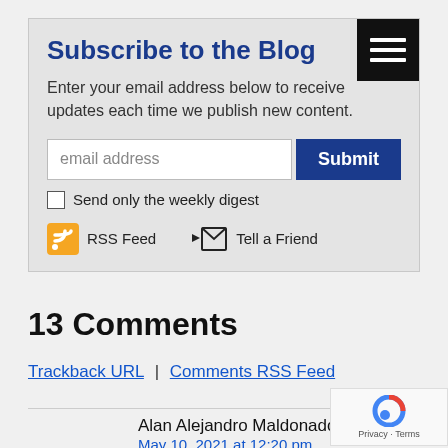Subscribe to the Blog
Enter your email address below to receive updates each time we publish new content.
email address [input field] Submit [button]
Send only the weekly digest
RSS Feed   Tell a Friend
13 Comments
Trackback URL | Comments RSS Feed
Alan Alejandro Maldonado Ortiz
May 10, 2021 at 12:20 pm